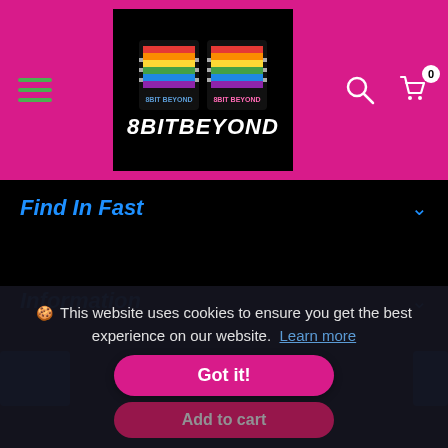8BITBEYOND
Find In Fast
Information
🍪 This website uses cookies to ensure you get the best experience on our website. Learn more
© 2022 8BitBeyond. All Rights Reserved
Got it!
Add to cart